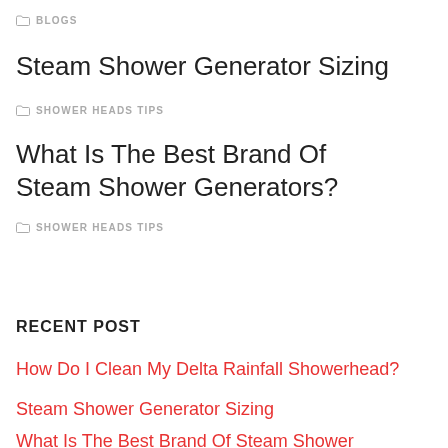BLOGS
Steam Shower Generator Sizing
SHOWER HEADS TIPS
What Is The Best Brand Of Steam Shower Generators?
SHOWER HEADS TIPS
RECENT POST
How Do I Clean My Delta Rainfall Showerhead?
Steam Shower Generator Sizing
What Is The Best Brand Of Steam Shower Generators?